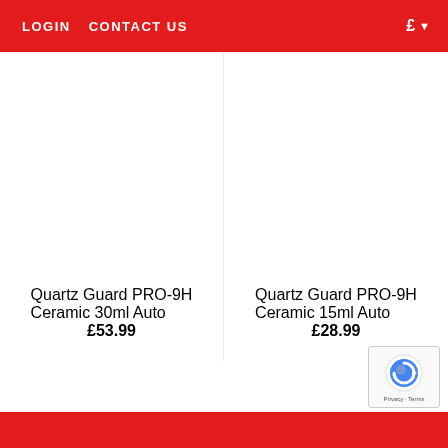LOGIN   CONTACT US   £ ▼
Quartz Guard PRO-9H Ceramic 30ml Auto
£53.99
Quartz Guard PRO-9H Ceramic 15ml Auto
£28.99
[Figure (logo): Google reCAPTCHA badge with arrow icon and Privacy - Terms text]